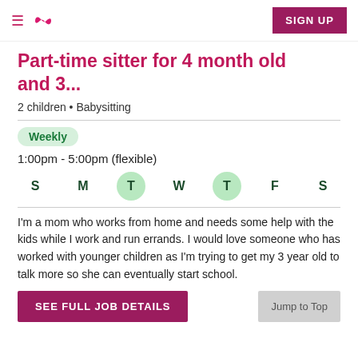SIGN UP
Part-time sitter for 4 month old and 3...
2 children • Babysitting
Weekly
1:00pm - 5:00pm (flexible)
S M T W T F S (Tuesday and Thursday highlighted)
I'm a mom who works from home and needs some help with the kids while I work and run errands. I would love someone who has worked with younger children as I'm trying to get my 3 year old to talk more so she can eventually start school.
SEE FULL JOB DETAILS
Jump to Top